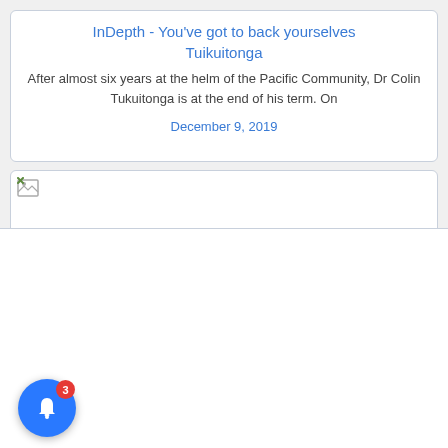InDepth - You've got to back yourselves Tuikuitonga
After almost six years at the helm of the Pacific Community, Dr Colin Tukuitonga is at the end of his term. On
December 9, 2019
[Figure (photo): Image card with broken image icon (top card) and a large image area below (bottom section), both with white backgrounds and light blue-gray borders. A blue notification bell button with a red badge showing '3' is overlaid at the bottom-left.]